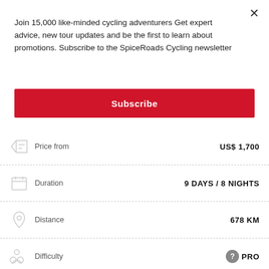Join 15,000 like-minded cycling adventurers Get expert advice, new tour updates and be the first to learn about promotions. Subscribe to the SpiceRoads Cycling newsletter
Subscribe
| Field | Value |
| --- | --- |
| Price from | US$ 1,700 |
| Duration | 9 DAYS / 8 NIGHTS |
| Distance | 678 KM |
| Difficulty | PRO |
| Tour Code | THA-TSH |
| Next departure | 17-NOV-2022 |